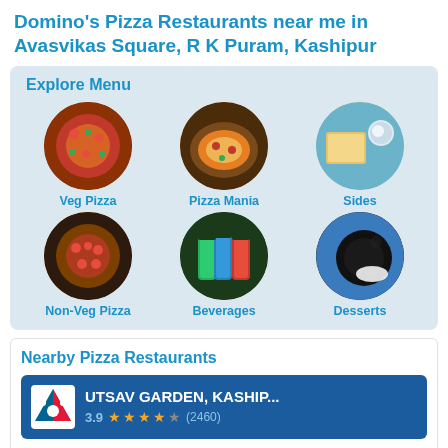Domino's Pizza Restaurants near me in Avasvikas Square, R K Puram, Kashipur
Explore Menu
[Figure (illustration): Menu category grid with 6 circular food images: Veg Pizza, Pizza Mania, Sides, Non-Veg Pizza, Beverages, Desserts]
Nearby Pizza Restaurants
UTSAV GARDEN, KASHIP...
3.9 ★★★★ (2460)
Ground Floor, Utsav GardenKhasra No 97/653Ram Nagar Road Maheshpura Ka...
This delivers in current location